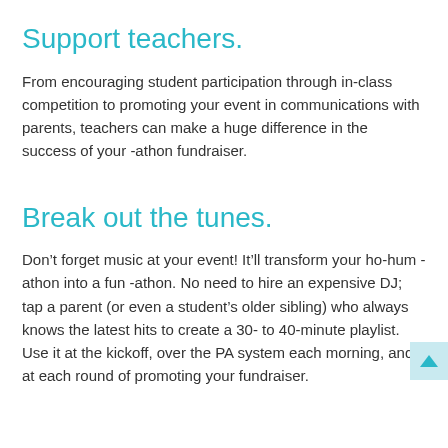Support teachers.
From encouraging student participation through in-class competition to promoting your event in communications with parents, teachers can make a huge difference in the success of your -athon fundraiser.
Break out the tunes.
Don’t forget music at your event! It’ll transform your ho-hum -athon into a fun -athon. No need to hire an expensive DJ; tap a parent (or even a student’s older sibling) who always knows the latest hits to create a 30- to 40-minute playlist. Use it at the kickoff, over the PA system each morning, and at each round of promoting your fundraiser.